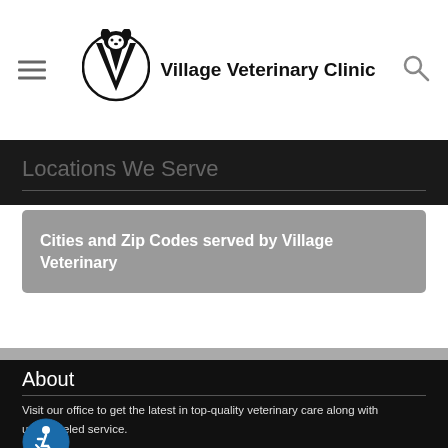Village Veterinary Clinic
Locations We Serve
Cities and Zip Codes served by Village Veterinary
About
Visit our office to get the latest in top-quality veterinary care along with unparalleled service.
Links